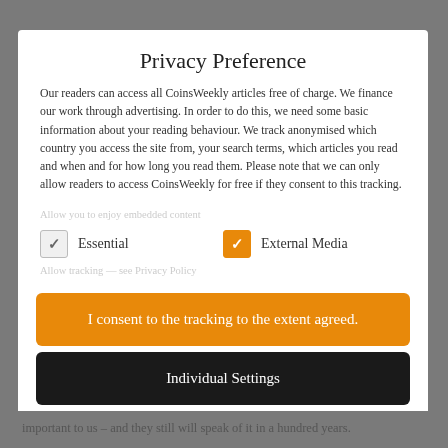Privacy Preference
Our readers can access all CoinsWeekly articles free of charge. We finance our work through advertising. In order to do this, we need some basic information about your reading behaviour. We track anonymised which country you access the site from, your search terms, which articles you read and when and for how long you read them. Please note that we can only allow readers to access CoinsWeekly for free if they consent to this tracking.
Essential
External Media
I consent to the tracking to the extent agreed.
Individual Settings
important to us – and they still will speak of it in a hundred years.